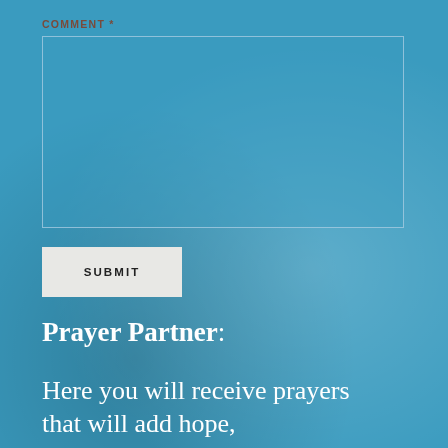COMMENT *
[Figure (other): Empty comment text input box with semi-transparent blue background and border]
SUBMIT
Prayer Partner:
Here you will receive prayers that will add hope, encouragement,